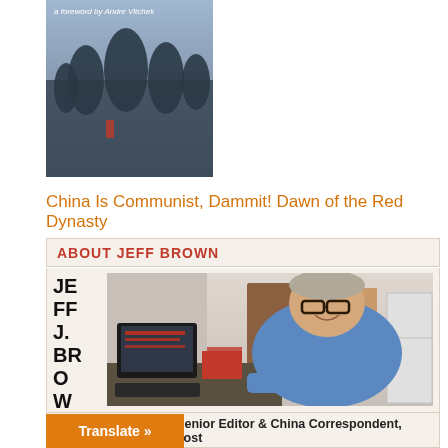[Figure (photo): Book cover photo with text 'a foreword by Andre Vltchek' and sculptural figures in background]
China Is Communist, Dammit! Dawn of the Red Dynasty
ABOUT JEFF BROWN
JEFF J. BROWN, Editor, China Rising
[Figure (photo): Photo of Jeff J. Brown sitting at a desk with a computer, smiling at the camera, wearing a blue shirt and glasses]
itor, China Rising, and Senior Editor & China Correspondent, ijing, The Greanville Post